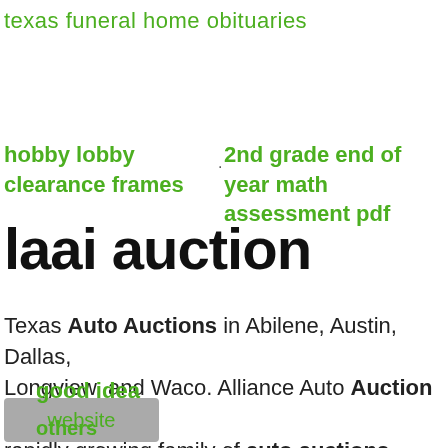texas funeral home obituaries
hobby lobby clearance frames
2nd grade end of year math assessment pdf
laai auction
Texas Auto Auctions in Abilene, Austin, Dallas, Longview, and Waco. Alliance Auto Auction is a rapidly growing family of auto auctions providing vehicle remarketing services to wholesale dealers. Founded in Texas in 2011,
good idea
others
website